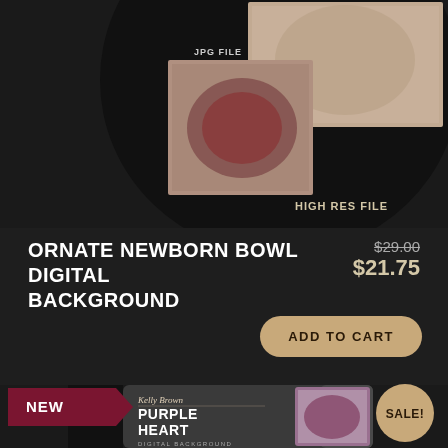[Figure (photo): Product mock-up image showing two food/bowl photographs on a dark circular display stand with labels JPG FILE and HIGH RES FILE]
ORNATE NEWBORN BOWL DIGITAL BACKGROUND
$29.00 $21.75
ADD TO CART
NEW
SALE!
[Figure (photo): Product packaging box for Purple Heart Digital Background by Kelly Brown, showing dark box with script logo and purple heart image preview]